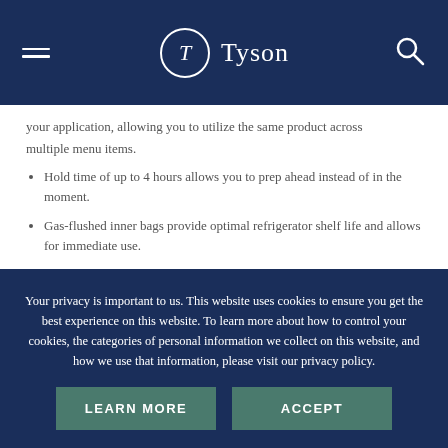Tyson
your application, allowing you to utilize the same product across multiple menu items.
Hold time of up to 4 hours allows you to prep ahead instead of in the moment.
Gas-flushed inner bags provide optimal refrigerator shelf life and allows for immediate use.
Your privacy is important to us. This website uses cookies to ensure you get the best experience on this website. To learn more about how to control your cookies, the categories of personal information we collect on this website, and how we use that information, please visit our privacy policy.